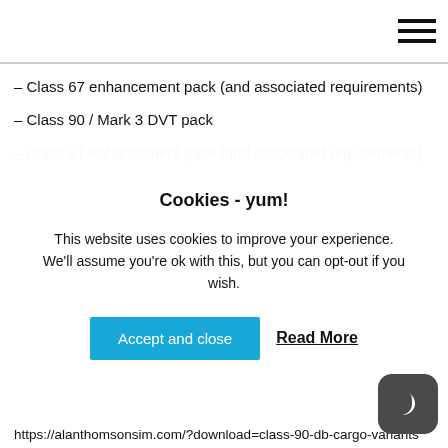– Class 67 enhancement pack (and associated requirements)
– Class 90 / Mark 3 DVT pack
– Class 91 enhancement pack (and associated requirements)
Cookies - yum!
This website uses cookies to improve your experience. We'll assume you're ok with this, but you can opt-out if you wish.
Accept and close   Read More
https://alanthomsonsim.com/?download=class-90-db-cargo-variants
– InterCity 225 LNER / VTEC Pack (and associated requirements) https://alanthomsonsim.com/?download=intercity-225-lner-vtec-pack